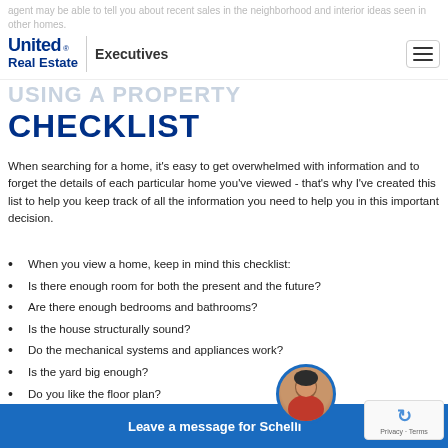agent may be able to tell you about recent sales in the neighborhood and interior ideas seen in other homes.
United Real Estate | Executives
USING A PROPERTY CHECKLIST
When searching for a home, it's easy to get overwhelmed with information and to forget the details of each particular home you've viewed - that's why I've created this list to help you keep track of all the information you need to help you in this important decision.
When you view a home, keep in mind this checklist:
Is there enough room for both the present and the future?
Are there enough bedrooms and bathrooms?
Is the house structurally sound?
Do the mechanical systems and appliances work?
Is the yard big enough?
Do you like the floor plan?
Will my furniture fit in the space? Is there enough storage space? (Bring a tape measure to better answer these questions.)
seller
Leave a message for Schelli